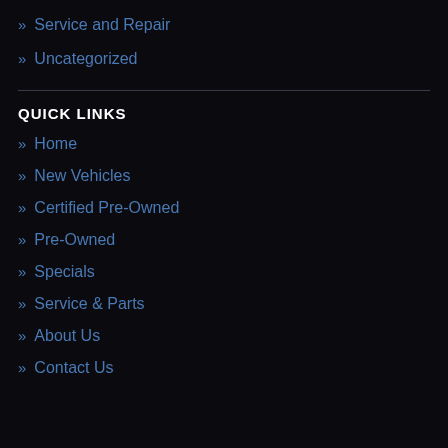» Service and Repair
» Uncategorized
QUICK LINKS
» Home
» New Vehicles
» Certified Pre-Owned
» Pre-Owned
» Specials
» Service & Parts
» About Us
» Contact Us